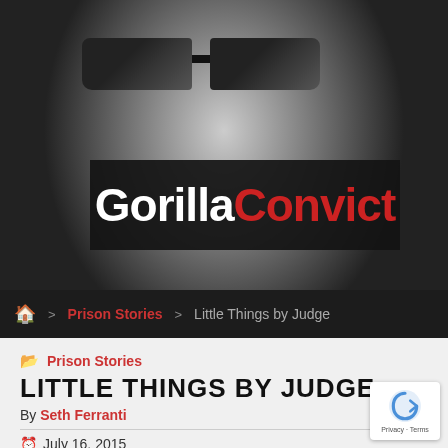[Figure (photo): Black and white close-up photo of a man wearing dark sunglasses, with the Gorilla Convict logo banner overlaid in the center of the image.]
Gorilla Convict
🏠 > Prison Stories > Little Things by Judge
Prison Stories
LITTLE THINGS BY JUDGE
By Seth Ferranti
July 16, 2015